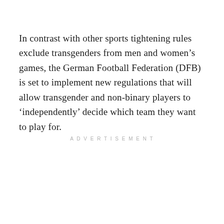In contrast with other sports tightening rules exclude transgenders from men and women’s games, the German Football Federation (DFB) is set to implement new regulations that will allow transgender and non-binary players to ‘independently’ decide which team they want to play for.
ADVERTISEMENT